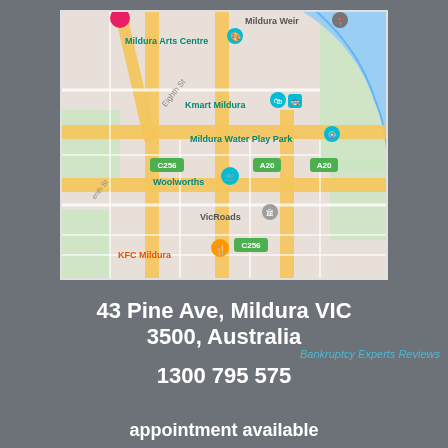[Figure (map): Google Maps screenshot showing Mildura, Victoria, Australia city area with landmarks including Mildura Arts Centre, Mildura Weir, Kmart Mildura, Mildura Water Play Park, Woolworths, VicRoads, KFC Mildura. Road labels C256 and A20 visible.]
43 Pine Ave, Mildura VIC 3500, Australia
Bankruptcy Experts Reviews
1300 795 575
appointment available